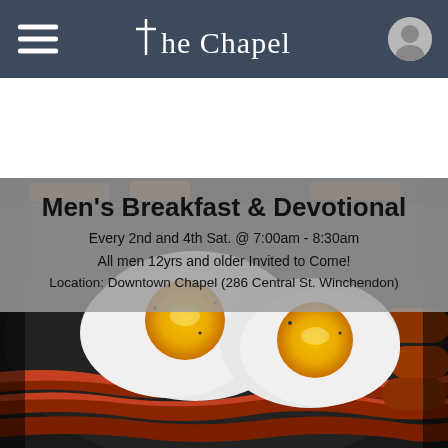The Chapel
[Figure (photo): Breakfast food photo showing fried eggs sunny-side up and strips of bacon on a skillet pan, with a grey semi-transparent text overlay box]
Men's Breakfast & Devotional
Every 2nd and 4th Sat. @ 7:00am - 8:30am
All men 12yrs and older Invited to Come!
Location: Downtown Chapel (286 Central St. Winchendon)